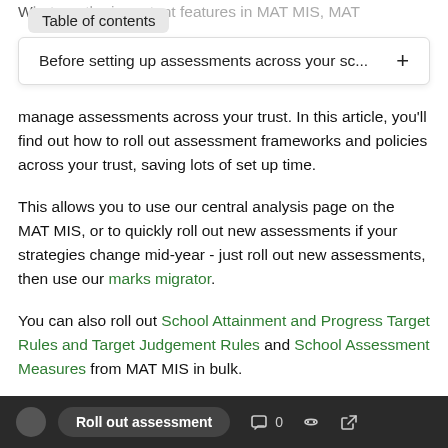Table of contents
Before setting up assessments across your sc... +
manage assessments across your trust. In this article, you'll find out how to roll out assessment frameworks and policies across your trust, saving lots of set up time.
This allows you to use our central analysis page on the MAT MIS, or to quickly roll out new assessments if your strategies change mid-year - just roll out new assessments, then use our marks migrator.
You can also roll out School Attainment and Progress Target Rules and Target Judgement Rules and School Assessment Measures from MAT MIS in bulk.
Roll out assessment  0